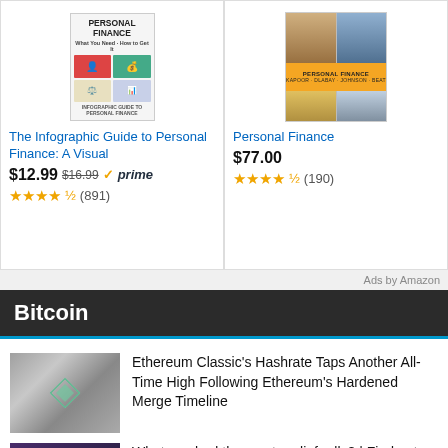[Figure (photo): Book cover: The Infographic Guide to Personal Finance: A Visual]
The Infographic Guide to Personal Finance: A Visual
$12.99 $16.99 prime (891)
[Figure (photo): Book cover: Personal Finance textbook with photos]
Personal Finance
$77.00 (190)
Ads by Amazon
Bitcoin
[Figure (photo): Ethereum Classic cryptocurrency logo - diamond shape on swirling background]
Ethereum Classic's Hashrate Taps Another All-Time High Following Ethereum's Hardened Merge Timeline
[Figure (photo): Person in dark futuristic setting, crypto/market theme]
What crashed the crypto relief rally? | Find out now on The Market Report